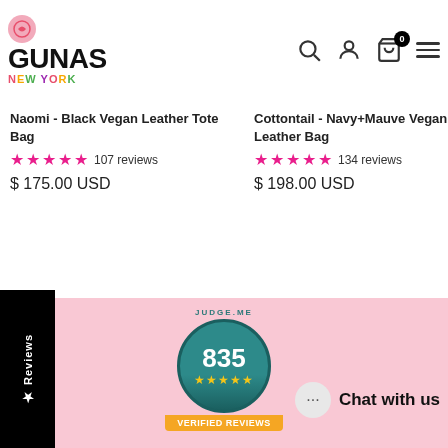[Figure (logo): GUNAS New York logo with icon and colorful text]
Naomi - Black Vegan Leather Tote Bag
★★★★★ 107 reviews
$ 175.00 USD
Cottontail - Navy+Mauve Vegan Leather Bag
★★★★★ 134 reviews
$ 198.00 USD
[Figure (infographic): Judge.me verified reviews badge showing 835 reviews with 5 stars]
Chat with us
★ Reviews